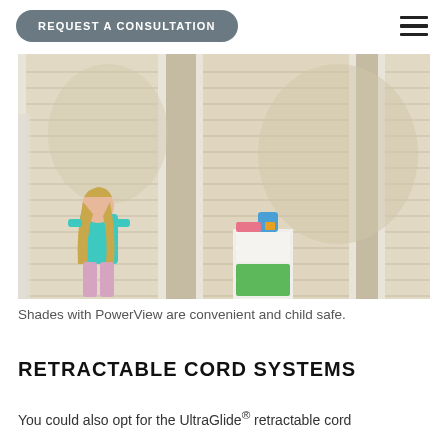REQUEST A CONSULTATION
[Figure (photo): A young girl with long blonde hair wearing a teal shirt stands near large windows covered with light cream honeycomb cellular shades. In the background there is a white storage unit with a blue bucket and colorful items on top, and a green drawer bin below. The room is bright with natural light filtering through the shades.]
Shades with PowerView are convenient and child safe.
RETRACTABLE CORD SYSTEMS
You could also opt for the UltraGlide® retractable cord